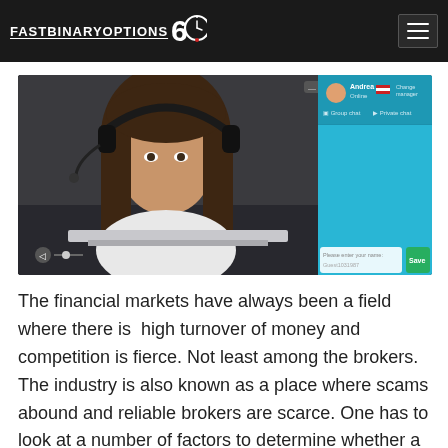FASTBINARYOPTIONS 60
[Figure (screenshot): Screenshot of a video chat interface showing a young woman with long brown hair wearing a headset, seated at a desk with a monitor. On the right side of the screen is a chat panel with user 'Andrea' listed as 'Group manager' with options for Group chat and Private chat, and a field saying 'Please enter your name: Guest1031987' with a Save button.]
The financial markets have always been a field where there is  high turnover of money and competition is fierce. Not least among the brokers. The industry is also known as a place where scams abound and reliable brokers are scarce. One has to look at a number of factors to determine whether a broker is legit and trustworthy and we are going to do exactly that with